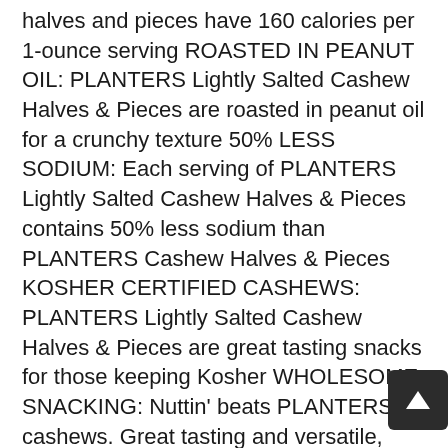halves and pieces have 160 calories per 1-ounce serving ROASTED IN PEANUT OIL: PLANTERS Lightly Salted Cashew Halves & Pieces are roasted in peanut oil for a crunchy texture 50% LESS SODIUM: Each serving of PLANTERS Lightly Salted Cashew Halves & Pieces contains 50% less sodium than PLANTERS Cashew Halves & Pieces KOSHER CERTIFIED CASHEWS: PLANTERS Lightly Salted Cashew Halves & Pieces are great tasting snacks for those keeping Kosher WHOLESOME SNACKING: Nuttin' beats PLANTERS cashews. Great tasting and versatile, they're perfect for enjoying as after school snacks, movie snacks or a game day snackthey also make great gifts, holiday gifts or birthday gifts to friends and family PLANTERS SNACKS, PLANTERS PEANUTS & PLANTERS NUTS: If you want to satisfy a salty and